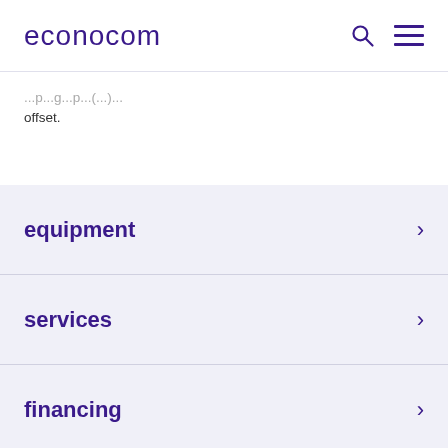econocom
offset.
equipment
services
financing